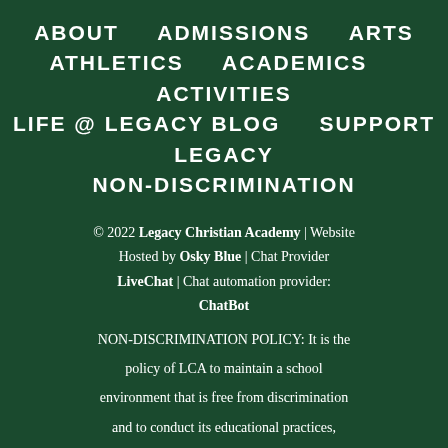ABOUT   ADMISSIONS   ARTS
ATHLETICS   ACADEMICS   ACTIVITIES
LIFE @ LEGACY BLOG   SUPPORT LEGACY
NON-DISCRIMINATION
© 2022 Legacy Christian Academy | Website Hosted by Osky Blue | Chat Provider LiveChat | Chat automation provider: ChatBot
NON-DISCRIMINATION POLICY: It is the policy of LCA to maintain a school environment that is free from discrimination and to conduct its educational practices, admissions program, financial aid policies,